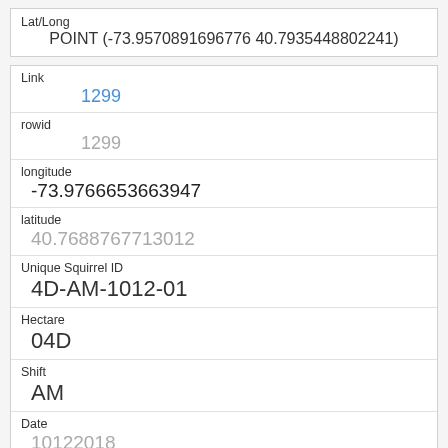| Field | Value |
| --- | --- |
| Lat/Long | POINT (-73.9570891696776 40.7935448802241) |
| Link | 1299 |
| rowid | 1299 |
| longitude | -73.9766653663947 |
| latitude | 40.7688767713012 |
| Unique Squirrel ID | 4D-AM-1012-01 |
| Hectare | 04D |
| Shift | AM |
| Date | 10122018 |
| Hectare Squirrel Number |  |